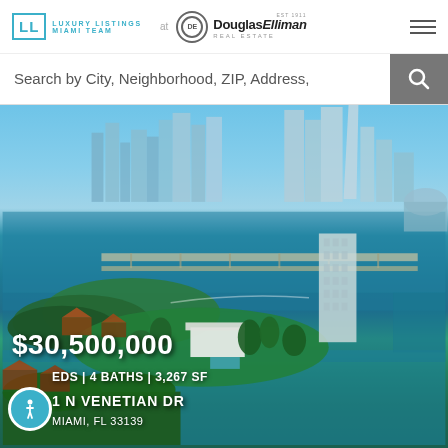LL LUXURY LISTINGS MIAMI TEAM at Douglas Elliman Real Estate
Search by City, Neighborhood, ZIP, Address,
[Figure (photo): Aerial view of Miami waterfront luxury property with city skyline in background. Blue sky, Biscayne Bay, bridge, and luxury homes visible.]
$30,500,000
EDS | 4 BATHS | 3,267 SF
1 N VENETIAN DR
MIAMI, FL 33139